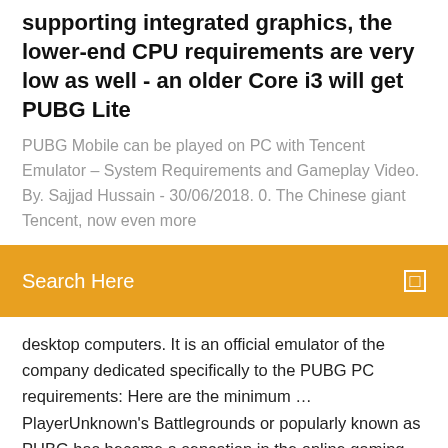supporting integrated graphics, the lower-end CPU requirements are very low as well - an older Core i3 will get PUBG Lite
PUBG Mobile can be played on PC with Tencent Emulator – System Requirements and Gameplay Video. By. Sajjad Hussain - 30/06/2018. 0. The Chinese giant Tencent, now even more
Search Here
desktop computers. It is an official emulator of the company dedicated specifically to the PUBG PC requirements: Here are the minimum … PlayerUnknown's Battlegrounds or popularly known as PUBG has become a sensation in the online gaming world and since this multiplayer battle royale features huge, open areas, high players counts as well as battles which are fought on an epic scale, you'll definitely need an epic PC to play PUBG. PUBG PC system requirements | PC Gamer PUBG minimum system requirements. Here's what you need to run